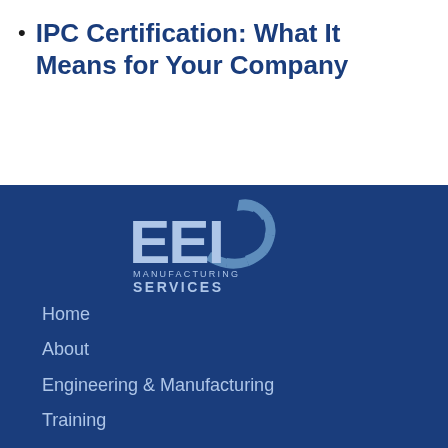IPC Certification: What It Means for Your Company
[Figure (logo): EEI Manufacturing Services logo — stylized 'EEI' letters with a gear/cog arc graphic in light blue on dark blue background, with 'MANUFACTURING SERVICES' text below]
Home
About
Engineering & Manufacturing
Training